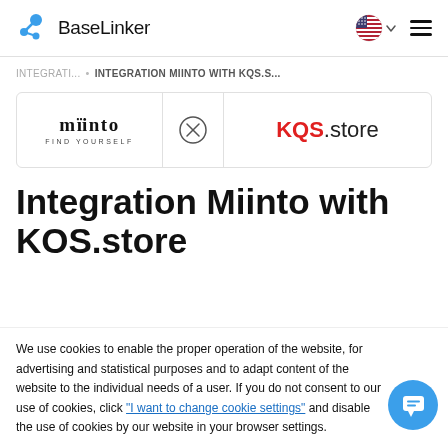BaseLinker
INTEGRATI... • INTEGRATION MIINTO WITH KQS.S...
[Figure (logo): Integration logo panel showing Miinto 'FIND YOURSELF' logo on the left, a circled X symbol in the middle, and KQS.store logo on the right]
Integration Miinto with KOS.store
We use cookies to enable the proper operation of the website, for advertising and statistical purposes and to adapt content of the website to the individual needs of a user. If you do not consent to our use of cookies, click "I want to change cookie settings" and disable the use of cookies by our website in your browser settings.